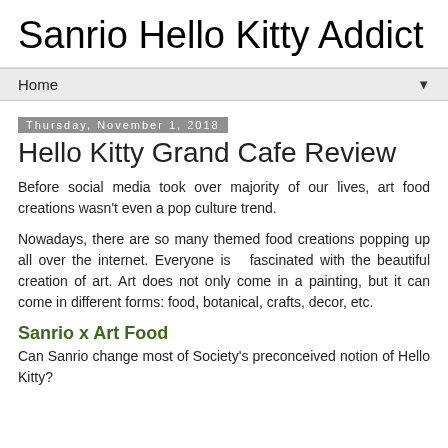Sanrio Hello Kitty Addict
Home
Thursday, November 1, 2018
Hello Kitty Grand Cafe Review
Before social media took over majority of our lives, art food creations wasn't even a pop culture trend.
Nowadays, there are so many themed food creations popping up all over the internet. Everyone is  fascinated with the beautiful creation of art. Art does not only come in a painting, but it can come in different forms: food, botanical, crafts, decor, etc.
Sanrio x Art Food
Can Sanrio change most of Society's preconceived notion of Hello Kitty?